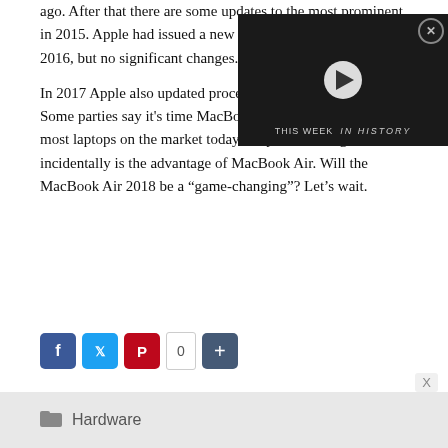ago. After that there are some updates to the most prominent in 2015. Apple had issued a new generation MacBook Air in 2016, but no significant changes.
[Figure (screenshot): Video player overlay showing 'THIS WEEK IN HISTORY' with a play button and a close (X) button in the top right corner. Dark background with a historical scene visible.]
In 2017 Apple also updated processor, tailored to the society. Some parties say it's time MacBook Air age. The reason, most laptops on the market today carry a thin design that incidentally is the advantage of MacBook Air. Will the MacBook Air 2018 be a “game-changing”? Let’s wait.
[Figure (screenshot): Social sharing bar with Facebook, Twitter, Pinterest buttons, a share count of 0, and a plus/share button.]
X
Hardware